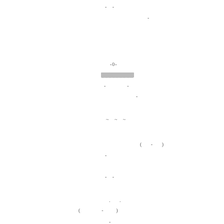- -
-
-0-
[REDACTED]
- -
-
~ ~ ~
( - )
-
- -
. .
( - )
-